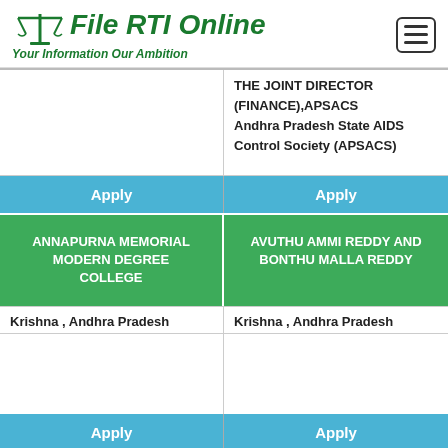[Figure (logo): File RTI Online logo with scales of justice icon and tagline 'Your Information Our Ambition' in green]
THE JOINT DIRECTOR (FINANCE),APSACS
Andhra Pradesh State AIDS Control Society (APSACS)
Apply
Apply
ANNAPURNA MEMORIAL MODERN DEGREE COLLEGE
AVUTHU AMMI REDDY AND BONTHU MALLA REDDY
Krishna , Andhra Pradesh
Krishna , Andhra Pradesh
Apply
Apply